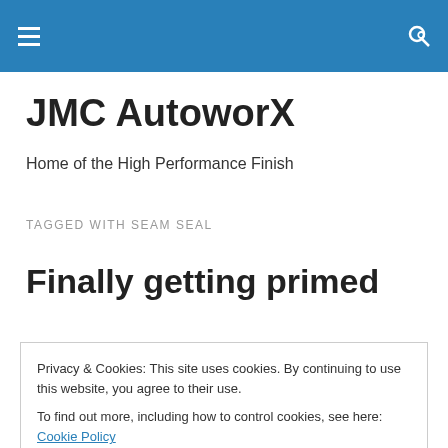JMC AutoworX — header bar with menu and search icons
JMC AutoworX
Home of the High Performance Finish
TAGGED WITH SEAM SEAL
Finally getting primed
We have been steadily plugging along on the 51 over the p... here is where we stand on it. The r doors have been stripped and reank... A nice coat of epoxy was applied to the gutters followed by a flowable seam sealer. They really look nice and smooth
Privacy & Cookies: This site uses cookies. By continuing to use this website, you agree to their use. To find out more, including how to control cookies, see here: Cookie Policy
now. Jordan also … Continue reading →